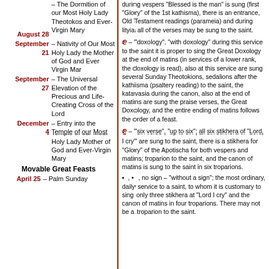August 28 – The Dormition of our Most Holy Lady Theotokos and Ever-Virgin Mary
September 21 – Nativity of Our Most Holy Lady the Mother of God and Ever Virgin Mary
September 27 – The Universal Elevation of the Precious and Life-Creating Cross of the Lord
December 4 – Entry into the Temple of our Most Holy Lady Mother of God and Ever-Virgin Mary
Movable Great Feasts
April 25 – Palm Sunday
during vespers "Blessed is the man" is sung (first "Glory" of the 1st kathisma), there is an entrance, Old Testament readings (parameia) and during lityia all of the verses may be sung to the saint.
ⅇ – "doxology", "with doxology" during this service to the saint it is proper to sing the Great Doxology at the end of matins (in services of a lower rank, the doxology is read), also at this service are sung several Sunday Theotokions, sedalions after the kathisma (psaltery reading) to the saint, the katavasia during the canon, also at the end of matins are sung the praise verses, the Great Doxology, and the entire ending of matins follows the order of a feast.
ⅇ – "six verse", "up to six"; all six stikhera of "Lord, I cry" are sung to the saint, there is a stikhera for "Glory" of the Apotischa for both vespers and matins; troparion to the saint, and the canon of matins is sung to the saint in six troparions.
▪ , • , no sign – "without a sign"; the most ordinary, daily service to a saint, to whom it is customary to sing only three stikhera at "Lord I cry" and the canon of matins in four troparions. There may not be a troparion to the saint.